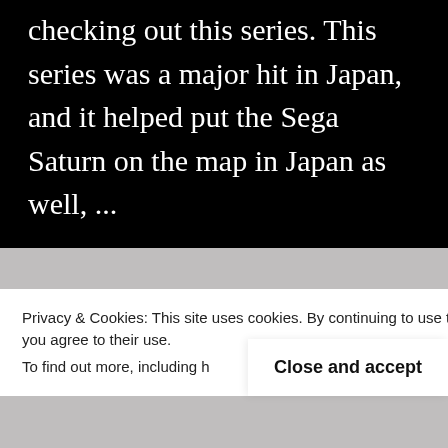checking out this series. This series was a major hit in Japan, and it helped put the Sega Saturn on the map in Japan as well, ...
Continue reading →
Privacy & Cookies: This site uses cookies. By continuing to use this website, you agree to their use.
To find out more, including h cookies, see here: Cookie Po
Close and accept